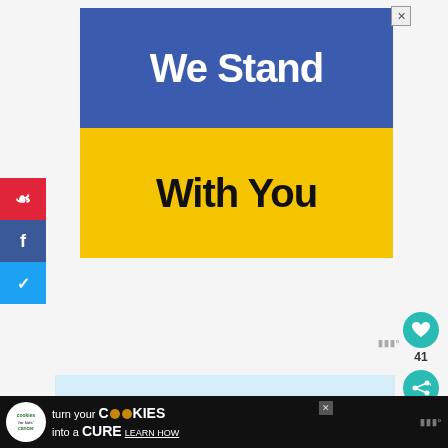[Figure (illustration): Advertisement banner with Ukrainian flag colors. Blue top half with white bold text 'We Stand', yellow bottom half with black bold text 'With You'. Has an X close button in top right corner.]
[Figure (infographic): Social media share sidebar with Pinterest (red), Facebook (dark blue), and Twitter (light blue) buttons showing P, f, and bird icons.]
[Figure (infographic): Right side engagement buttons: teal heart icon, count of 41, teal share/connect icon.]
WHAT GAMES CAN
[Figure (infographic): Cookie banner ad at bottom: 'cookies for kids cancer' logo on dark background, text 'turn your COOKIES into a CURE LEARN HOW' with X close button.]